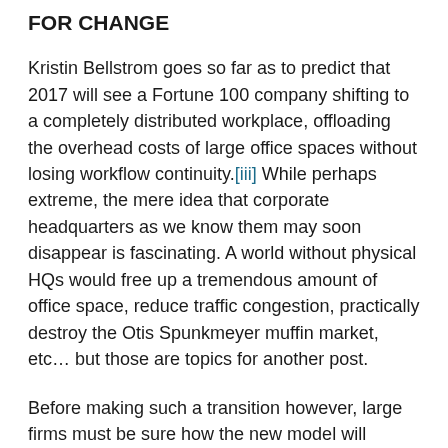FOR CHANGE
Kristin Bellstrom goes so far as to predict that 2017 will see a Fortune 100 company shifting to a completely distributed workplace, offloading the overhead costs of large office spaces without losing workflow continuity.[iii] While perhaps extreme, the mere idea that corporate headquarters as we know them may soon disappear is fascinating. A world without physical HQs would free up a tremendous amount of office space, reduce traffic congestion, practically destroy the Otis Spunkmeyer muffin market, etc… but those are topics for another post.
Before making such a transition however, large firms must be sure how the new model will benefit corporate operations. Global Workplace Analytics is a firm dedicated to addressing such concerns and